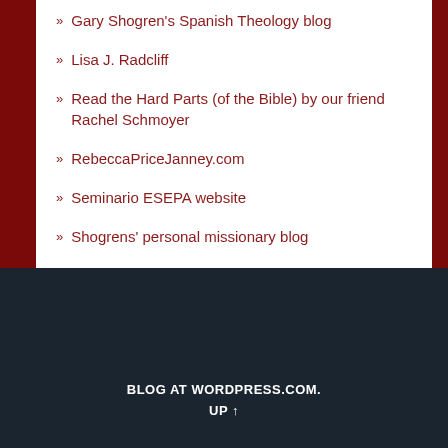Gary Shogren's Spanish Theology blog
Lisa J. Radcliff
Read the Hard Parts (of the Bible) by our friend Rachel Schmoyer
RebeccaPriceJanney.com
Seminario ESEPA website
Shogrens' personal missionary blog
Stylus Publishing
BLOG AT WORDPRESS.COM. UP ↑